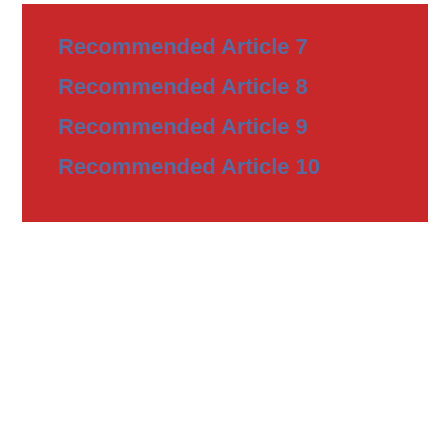Recommended Article 7
Recommended Article 8
Recommended Article 9
Recommended Article 10